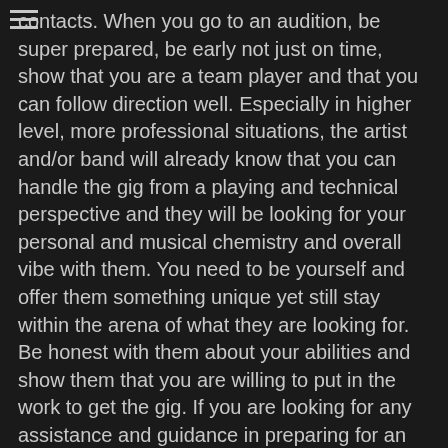contacts. When you go to an audition, be super prepared, be early not just on time, show that you are a team player and that you can follow direction well. Especially in higher level, more professional situations, the artist and/or band will already know that you can handle the gig from a playing and technical perspective and they will be looking for your personal and musical chemistry and overall vibe with them. You need to be yourself and offer them something unique yet still stay within the arena of what they are looking for. Be honest with them about your abilities and show them that you are willing to put in the work to get the gig. If you are looking for any assistance and guidance in preparing for an audition please feel free to contact me, I am always happy to assist drummers with anything that I can. Now go out there and get those gigs!
Doug Meola